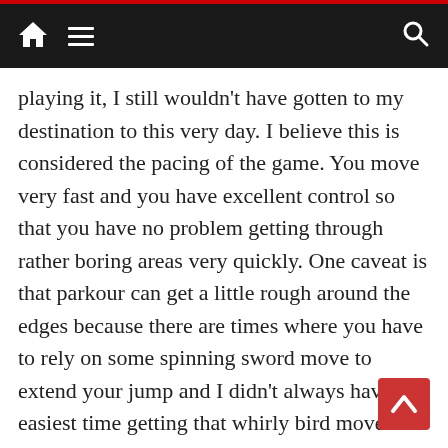Navigation bar with home icon, hamburger menu, and search icon
playing it, I still wouldn't have gotten to my destination to this very day. I believe this is considered the pacing of the game. You move very fast and you have excellent control so that you have no problem getting through rather boring areas very quickly. One caveat is that parkour can get a little rough around the edges because there are times where you have to rely on some spinning sword move to extend your jump and I didn't always have the easiest time getting that whirly bird move to work right. This led to lots of falls to the floor below. This didn't hurt your little Yunica or Hugo, whoever you choose to play in the beginning, but your pride may take a hit and you have to work your way back to where you